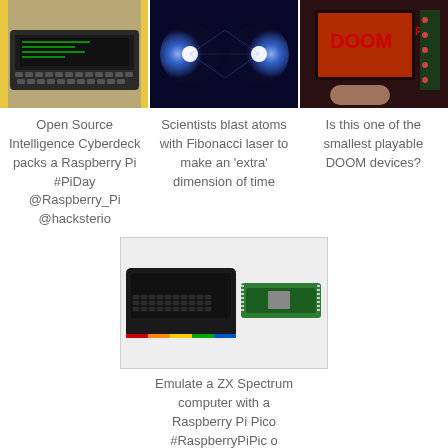[Figure (photo): Cyberdeck with Raspberry Pi, yellow casing and keyboard]
[Figure (photo): Blue glowing laser light beams / atoms illustration]
[Figure (photo): Small handheld DOOM gaming device with circuit board]
Open Source Intelligence Cyberdeck packs a Raspberry Pi #PiDay @Raspberry_Pi @hacksterio
Scientists blast atoms with Fibonacci laser to make an 'extra' dimension of time
Is this one of the smallest playable DOOM devices?
[Figure (photo): ZX Spectrum computer next to a Raspberry Pi Pico board]
Emulate a ZX Spectrum computer with a Raspberry Pi Pico #RaspberryPiPic o